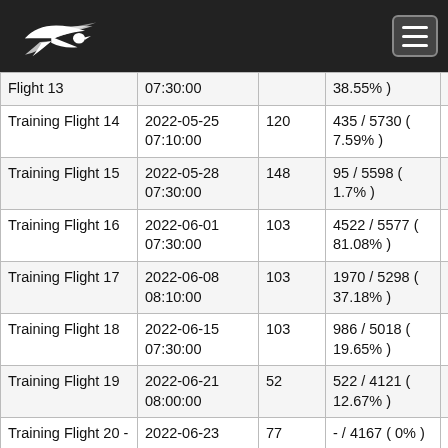Logo and navigation header
| Flight | Date/Time | Count | Result | Score |
| --- | --- | --- | --- | --- |
| Flight 13 | 07:30:00 |  | 38.55%) |  |
| Training Flight 14 | 2022-05-25 07:10:00 | 120 | 435 / 5730 ( 7.59% ) | 1306.7008 |
| Training Flight 15 | 2022-05-28 07:30:00 | 148 | 95 / 5598 ( 1.7% ) | 1524.3824 |
| Training Flight 16 | 2022-06-01 07:30:00 | 103 | 4522 / 5577 ( 81.08% ) | 1216.4061 |
| Training Flight 17 | 2022-06-08 08:10:00 | 103 | 1970 / 5298 ( 37.18% ) | 1431.2778 |
| Training Flight 18 | 2022-06-15 07:30:00 | 103 | 986 / 5018 ( 19.65% ) | 1225.8329 |
| Training Flight 19 | 2022-06-21 08:00:00 | 52 | 522 / 4121 ( 12.67% ) | 1301.8769 |
| Training Flight 20 - CANCELLED | 2022-06-23 08:00:00 | 77 | - / 4167 ( 0% ) | 0 |